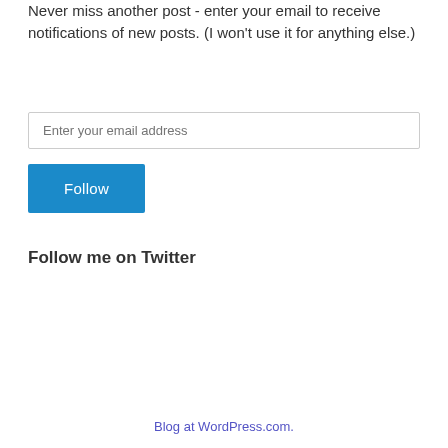Never miss another post - enter your email to receive notifications of new posts. (I won't use it for anything else.)
[Figure (screenshot): Email input field with placeholder text 'Enter your email address']
[Figure (screenshot): Blue 'Follow' button]
Follow me on Twitter
Blog at WordPress.com.